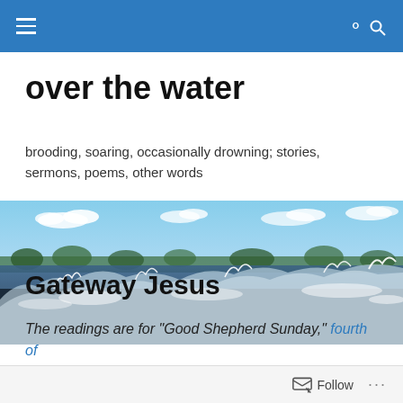over the water
over the water
brooding, soaring, occasionally drowning; stories, sermons, poems, other words
[Figure (photo): Wide landscape photo of ocean waves crashing with white spray, blue sky with scattered clouds, green treeline in background]
Gateway Jesus
The readings are for “Good Shepherd Sunday,” fourth of
Follow